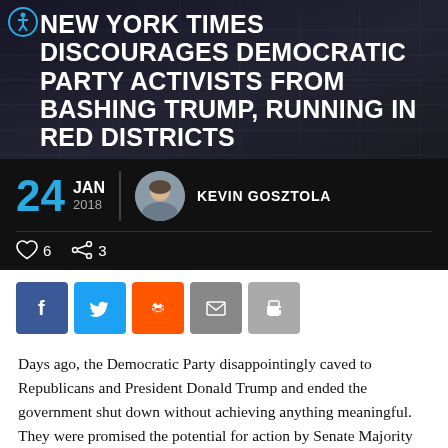NEW YORK TIMES DISCOURAGES DEMOCRATIC PARTY ACTIVISTS FROM BASHING TRUMP, RUNNING IN RED DISTRICTS
24 JAN 2018 KEVIN GOSZTOLA
♡ 6   ⊲ 3
[Figure (infographic): Social share buttons: Facebook, Twitter, Reddit, Email, Print]
Days ago, the Democratic Party disappointingly caved to Republicans and President Donald Trump and ended the government shut down without achieving anything meaningful. They were promised the potential for action by Senate Majority Leader Mitch McConnell that could help 800,000-plus